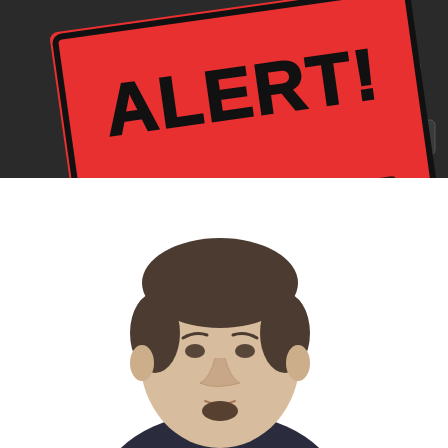[Figure (photo): Red 'ALERT!' sticky note label placed on a dark laptop keyboard, with additional colorful sticky notes visible underneath. Bold black hand-drawn text reads 'ALERT!' on the red note.]
[Figure (photo): Professional headshot of a young man with short dark hair and a goatee, wearing a dark suit and light shirt, photographed against a white background, slightly blurred/out of focus.]